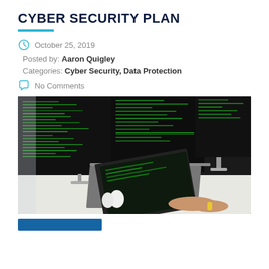CYBER SECURITY PLAN
October 25, 2019
Posted by: Aaron Quigley
Categories: Cyber Security, Data Protection
No Comments
[Figure (photo): Person typing on a laptop with multiple monitors displaying green code/terminal output in a dark office environment]